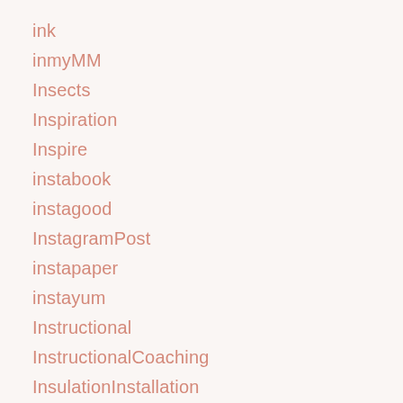ink
inmyMM
Insects
Inspiration
Inspire
instabook
instagood
InstagramPost
instapaper
instayum
Instructional
InstructionalCoaching
InsulationInstallation
Insurance